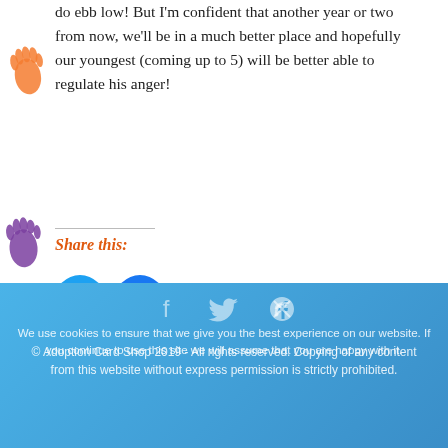do ebb low! But I'm confident that another year or two from now, we'll be in a much better place and hopefully our youngest (coming up to 5) will be better able to regulate his anger!
Share this:
[Figure (illustration): Two circular social media share buttons: Twitter (cyan/light blue) and Facebook (dark blue), with respective bird and f icons in white]
[Figure (illustration): Decorative colored handprints on the left margin: orange and purple handprints repeated vertically]
© Adoption Card Shop 2019 - All rights reserved. Copying of any content from this website without express permission is strictly prohibited.
We use cookies to ensure that we give you the best experience on our website. If you continue to use this site we will assume that you are happy with it.